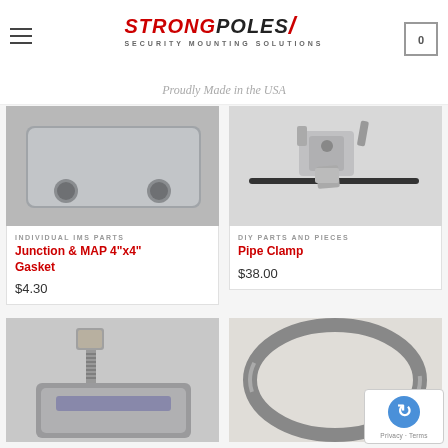StrongPoles Security Mounting Solutions — Proudly Made in the USA
[Figure (photo): Junction & MAP 4"x4" Gasket — grey metal plate with two holes]
INDIVIDUAL IMS PARTS
Junction & MAP 4"x4" Gasket
$4.30
[Figure (photo): Pipe Clamp — metal clamp mechanism with a zip tie]
DIY PARTS AND PIECES
Pipe Clamp
$38.00
[Figure (photo): Metal clamp with bolt — silver galvanized heavy-duty clamp]
[Figure (photo): Large metal ring/band clamp]